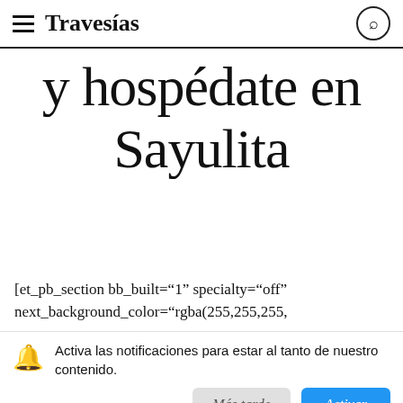Travesías
y hospédate en Sayulita
[et_pb_section bb_built="1" specialty="off" next_background_color="rgba(255,255,255,
Viaja con Travesías, recibe cada semana crónicas, itinerarios, tips de insider y las guías más completas
Activa las notificaciones para estar al tanto de nuestro contenido.
Más tarde  Activar